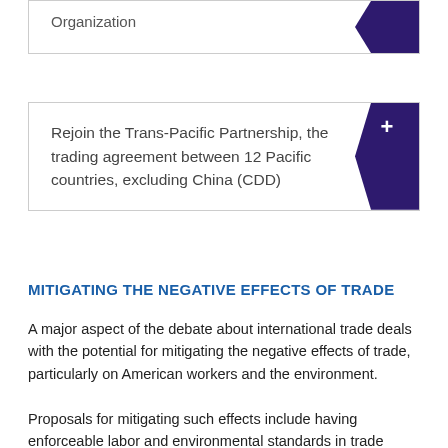Organization
Rejoin the Trans-Pacific Partnership, the trading agreement between 12 Pacific countries, excluding China (CDD)
MITIGATING THE NEGATIVE EFFECTS OF TRADE
A major aspect of the debate about international trade deals with the potential for mitigating the negative effects of trade, particularly on American workers and the environment.
Proposals for mitigating such effects include having enforceable labor and environmental standards in trade agreements, increasing unemployment benefits to help